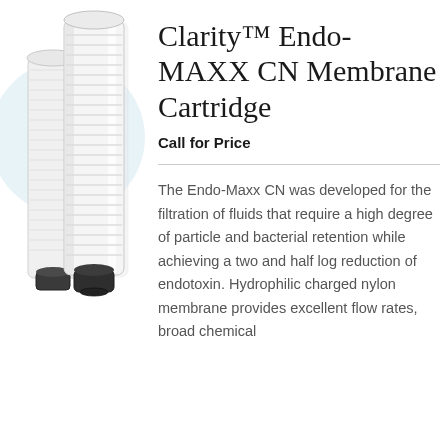[Figure (photo): Two white cylindrical filter cartridges (membrane cartridges) with black rubber gasket at the base, displayed against a light blue circular background on the left side of the page.]
Clarity™ Endo-MAXX CN Membrane Cartridge
Call for Price
The Endo-Maxx CN was developed for the filtration of fluids that require a high degree of particle and bacterial retention while achieving a two and half log reduction of endotoxin. Hydrophilic charged nylon membrane provides excellent flow rates, broad chemical